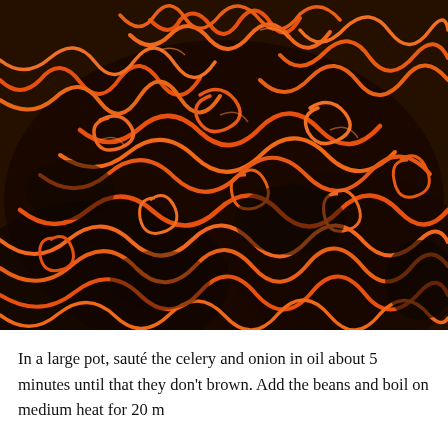[Figure (photo): Close-up photo of bright orange curly noodles in a dark sauce, resembling a stir-fried noodle dish. The noodles are tangled and glossy, set against a very dark background.]
In a large pot, sauté the celery and onion in oil about 5 minutes until that they don't brown. Add the beans and boil on medium heat for 20 m